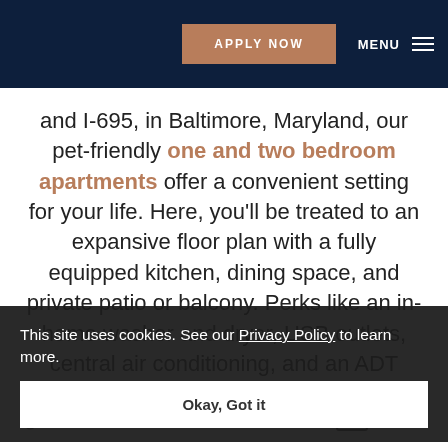APPLY NOW  MENU
and I-695, in Baltimore, Maryland, our pet-friendly one and two bedroom apartments offer a convenient setting for your life. Here, you'll be treated to an expansive floor plan with a fully equipped kitchen, dining space, and private patio or balcony. Perks like an in-home washer and dryer, USB outlets, central air conditioning, and an ADT Smart Home package including an alarm dial up the comfort factor. Take a look at our full features and amenities lists, and then come see why Hamilton Spring Apartments is your ideal home base.
This site uses cookies. See our Privacy Policy to learn more.
Okay, Got it
667-401-6368